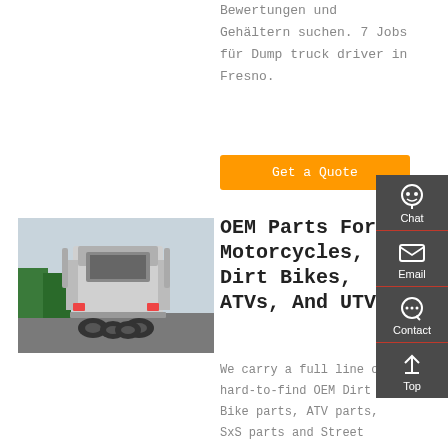Bewertungen und Gehältern suchen. 7 Jobs für Dump truck driver in Fresno.
Get a Quote
[Figure (photo): Rear view of a large semi-truck/tractor parked in a lot with other trucks visible in the background.]
OEM Parts For Motorcycles, Dirt Bikes, ATVs, And UTVs
We carry a full line of hard-to-find OEM Dirt Bike parts, ATV parts, SxS parts and Street Bike parts...